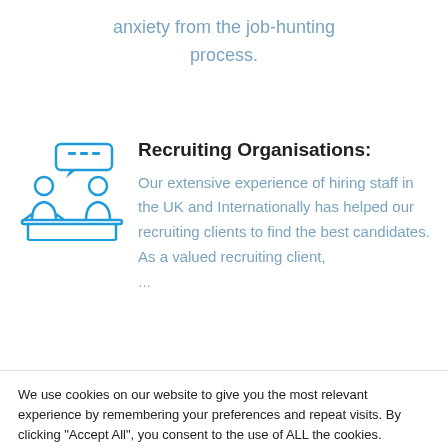anxiety from the job-hunting process.
[Figure (illustration): Blue line-art icon of two people at a desk in an interview/meeting scene with a speech bubble above]
Recruiting Organisations:
Our extensive experience of hiring staff in the UK and Internationally has helped our recruiting clients to find the best candidates. As a valued recruiting client, …
We use cookies on our website to give you the most relevant experience by remembering your preferences and repeat visits. By clicking "Accept All", you consent to the use of ALL the cookies. However, you may visit "Cookie Settings" to provide a controlled consent.